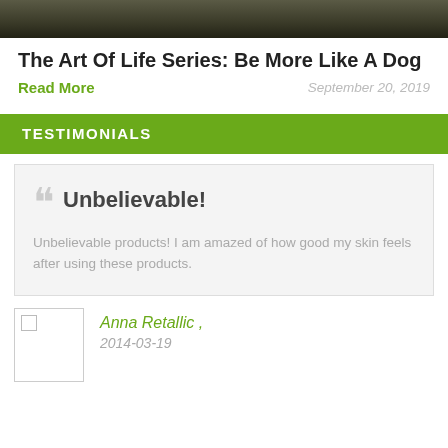[Figure (photo): Dark landscape or nature photo cropped at top of page]
The Art Of Life Series: Be More Like A Dog
Read More
September 20, 2019
TESTIMONIALS
Unbelievable!
Unbelievable products! I am amazed of how good my skin feels after using these products.
Anna Retallic ,
2014-03-19